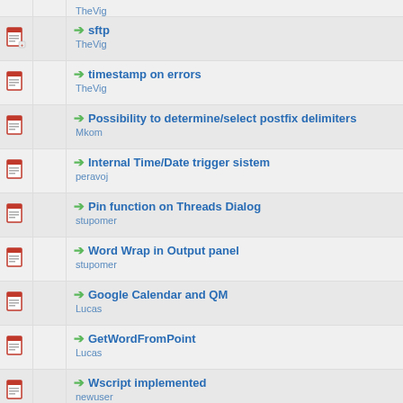sftp — TheVig
timestamp on errors — TheVig
Possibility to determine/select postfix delimiters — Mkom
Internal Time/Date trigger sistem — peravoj
Pin function on Threads Dialog — stupomer
Word Wrap in Output panel — stupomer
Google Calendar and QM — Lucas
GetWordFromPoint — Lucas
Wscript implemented — newuser